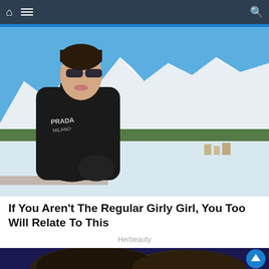Navigation bar with home icon, hamburger menu, and search icon
[Figure (photo): Woman wearing black Prada turtleneck sweater and sunglasses sitting outdoors with snow-covered Alps mountains in the background on a sunny day]
If You Aren't The Regular Girly Girl, You Too Will Relate To This
Herbeauty
[Figure (photo): Partial view of people with dark hair at a party or club, dark blue background]